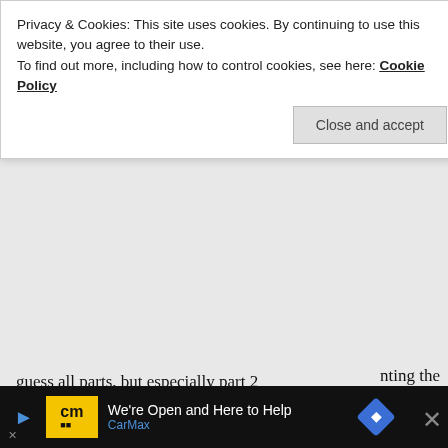Privacy & Cookies: This site uses cookies. By continuing to use this website, you agree to their use.
To find out more, including how to control cookies, see here: Cookie Policy
Close and accept
guess all parts, but especially part 2
I've explained how to do your own SWR analysis taking into account those additional personal, idiosyncratic factors like pensions and different final value targets: Part 7 and especially Part 28.
I've also done case studies for people:
https://earlyretirementnow.com/2018/01/17/ten-lessons-from-ten-safe-withdrawal-rate-case-studies/
with exactly those issues and I have
We're Open and Here to Help
CarMax